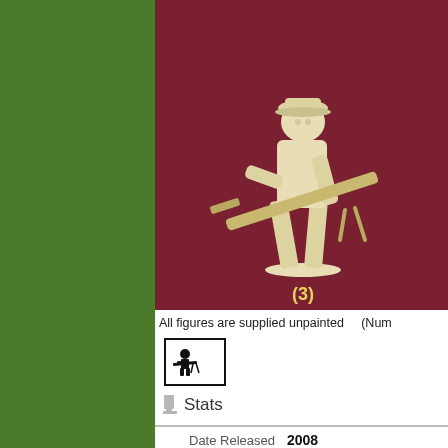[Figure (photo): Photograph of an unpainted plastic toy soldier figure (pose 3) holding a large gun/bazooka, shown against a dark red/maroon textured background. The figure is cream/beige colored. A yellow label '(3)' appears at the bottom of the image.]
All figures are supplied unpainted    (Num
[Figure (other): Small icon/logo in a black-bordered rectangle showing a stylized figure or toy soldier silhouette]
Stats
|  |  |
| --- | --- |
| Date Released | 2008 |
| Contents | 48 figures |
| Poses | 16 poses |